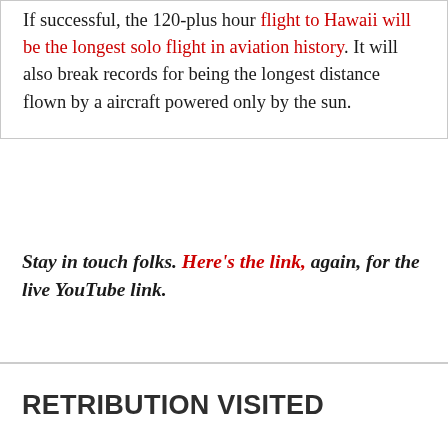If successful, the 120-plus hour flight to Hawaii will be the longest solo flight in aviation history. It will also break records for being the longest distance flown by a aircraft powered only by the sun.
Stay in touch folks. Here's the link, again, for the live YouTube link.
RETRIBUTION VISITED